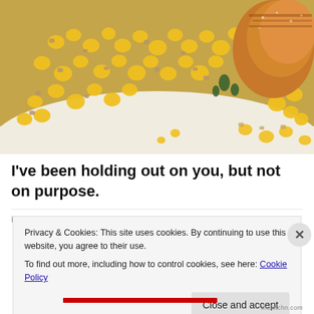[Figure (photo): Close-up food photo showing corn kernels mixed with rice or grain, with a piece of seared/grilled fish visible in the upper right corner, on a white plate background.]
I've been holding out on you, but not on purpose.
Privacy & Cookies: This site uses cookies. By continuing to use this website, you agree to their use. To find out more, including how to control cookies, see here: Cookie Policy
Close and accept